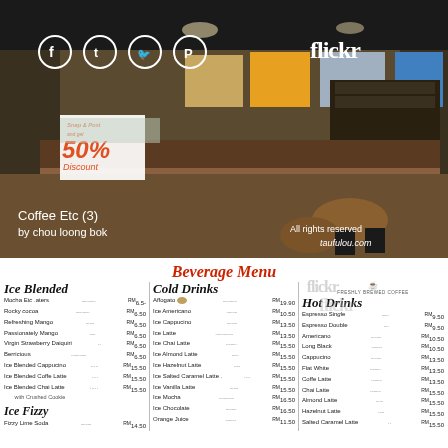[Figure (photo): Interior of Coffee Etc cafe showing counter, menu boards, shelves, tables. Social media icons (Facebook, Tumblr, Twitter, Pinterest) overlaid at top left. Flickr watermark at top right. Snap & Post 50% Discount banner visible. Caption: 'Coffee Etc (3) by chou loong bok'. All rights reserved taufulou.com.]
Beverage Menu
Ice Blended
Mocha Etc Esters ........... RM6.50
Rocky cocoa ........... RM6.50
Refreshing Mango ........... RM6.50
Passionately Mango ........... RM6.50
Virgin Strawberry Daiquiri ........... RM6.50
Berricious ........... RM6.50
Ice Blended Cappucino ........... RM15.50
Ice Blended Coffe Latte ........... RM15.50
Ice Blended Chai Latte ........... RM15.50
with Crushed Cookie
Ice Fizzy
Fizzy Lime Soda ........... RM14.50
Cold Drinks
Affogato ........... RM19.90
Ice Americano ........... RM10.50
Ice Cappucino ........... RM13.50
Ice Latte ........... RM13.50
Ice Chai Latte ........... RM15.50
Ice Almond Latte ........... RM15.50
Ice Hazelnut Latte ........... RM15.50
Ice Salted Caramel Latte ........... RM15.50
Ice Vanilla Latte ........... RM15.50
Ice Mocha ........... RM16.50
Ice Chocolate ........... RM16.50
Orange Juice ........... RM11.50
Hot Drinks
Espresso Single ........... RM9.50
Espresso Double ........... RM9.50
Americano ........... RM10.50
Long Black ........... RM10.50
Cappucino ........... RM13.50
Flat White ........... RM13.50
Coffe Latte ........... RM13.50
Chai Latte ........... RM15.50
Almond Latte ........... RM15.50
Hazelnut Latte ........... RM15.50
Salted Caramel Latte ........... RM15.50